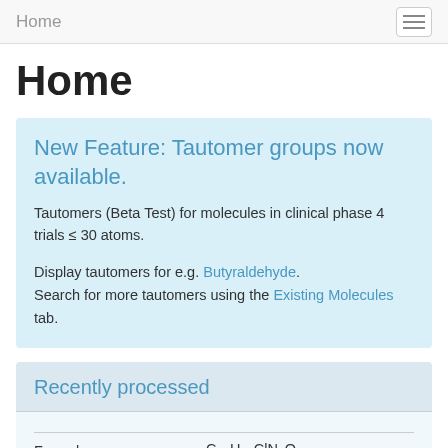Home
Home
New Feature: Tautomer groups now available.
Tautomers (Beta Test) for molecules in clinical phase 4 trials ≤ 30 atoms.
Display tautomers for e.g. Butyraldehyde. Search for more tautomers using the Existing Molecules tab.
Recently processed
| Formula |  |
| --- | --- |
| Formula | C15H18ClN3O3 |